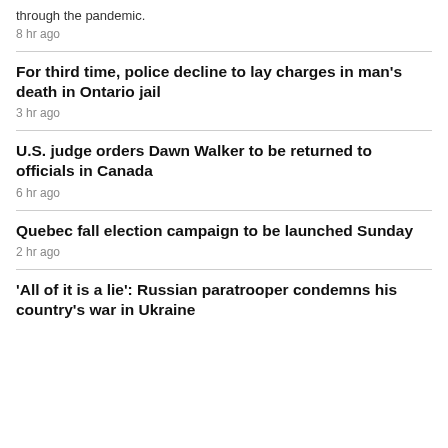through the pandemic.
8 hr ago
For third time, police decline to lay charges in man's death in Ontario jail
3 hr ago
U.S. judge orders Dawn Walker to be returned to officials in Canada
6 hr ago
Quebec fall election campaign to be launched Sunday
2 hr ago
'All of it is a lie': Russian paratrooper condemns his country's war in Ukraine